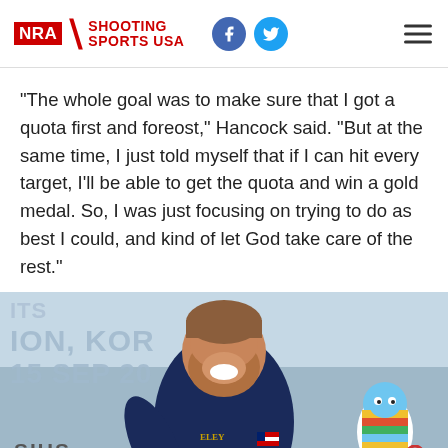NRA Shooting Sports USA
“The whole goal was to make sure that I got a quota first and foreost,” Hancock said. “But at the same time, I just told myself that if I can hit every target, I’ll be able to get the quota and win a gold medal. So, I was just focusing on trying to do as best I could, and kind of let God take care of the rest.”
[Figure (photo): Man smiling and holding a gold medal at what appears to be a shooting sports competition. Background shows partial text: ION, KOR / 15 SEP 20. Sponsors SIUS and Korean logos visible at bottom.]